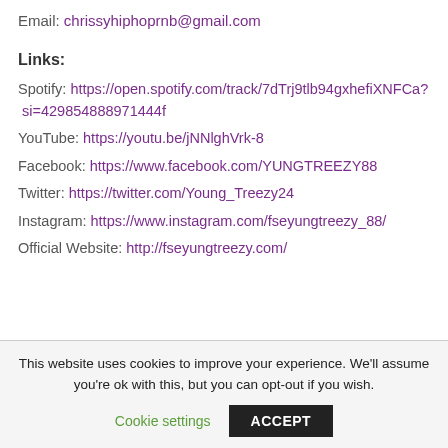Email: chrissyhiphoprnb@gmail.com
Links:
Spotify: https://open.spotify.com/track/7dTrj9tlb94gxhefiXNFCa?si=429854888971444f
YouTube: https://youtu.be/jNNlghVrk-8
Facebook: https://www.facebook.com/YUNGTREEZY88
Twitter: https://twitter.com/Young_Treezy24
Instagram: https://www.instagram.com/fseyungtreezy_88/
Official Website: http://fseyungtreezy.com/
This website uses cookies to improve your experience. We'll assume you're ok with this, but you can opt-out if you wish.